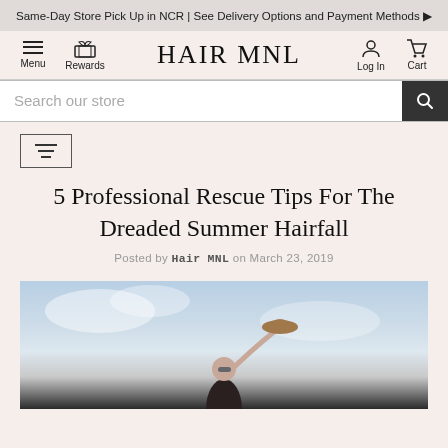Same-Day Store Pick Up in NCR | See Delivery Options and Payment Methods ▶
[Figure (screenshot): HairMNL website navigation bar with Menu, Rewards, HAIR MNL logo, Log In, and Cart icons]
Search our store
[Figure (other): Filter/sort button with horizontal lines icon]
5 Professional Rescue Tips For The Dreaded Summer Hairfall
Posted by Hair MNL on March 23, 2019
[Figure (photo): Woman holding a hat up in the air against a cloudy sky background]